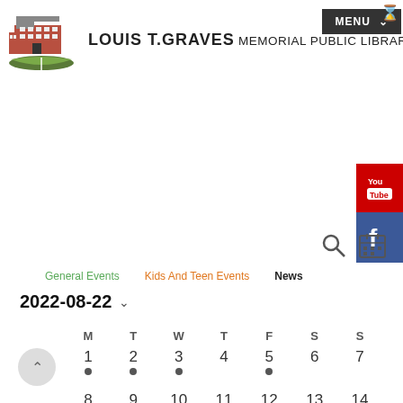[Figure (logo): Louis T. Graves Memorial Public Library building and open book logo illustration]
LOUIS T.GRAVES memorial public library
[Figure (screenshot): Dark gray MENU button with dropdown chevron in top right]
[Figure (screenshot): YouTube red button on right edge]
[Figure (screenshot): Facebook blue button on right edge]
[Figure (screenshot): Search magnifier icon and calendar icon]
General Events   Kids And Teen Events   News
2022-08-22 ∨
| M | T | W | T | F | S | S |
| --- | --- | --- | --- | --- | --- | --- |
| 1 • | 2 • | 3 • |  | 5 • | 6 | 7 |
| 8 | 9 | 10 | 11 | 12 | 13 | 14 |